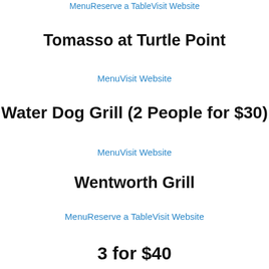MenuReserve a TableVisit Website
Tomasso at Turtle Point
MenuVisit Website
Water Dog Grill (2 People for $30)
MenuVisit Website
Wentworth Grill
MenuReserve a TableVisit Website
3 for $40